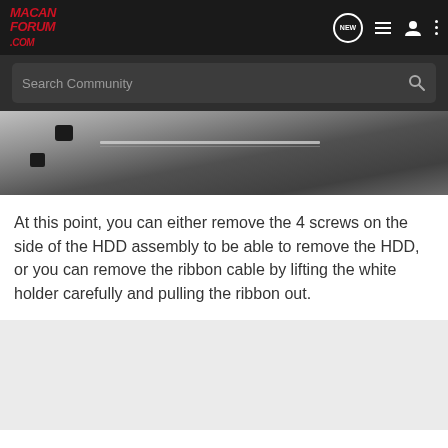MacanForum.com
[Figure (screenshot): Search Community bar on dark background]
[Figure (photo): Close-up photo of HDD assembly with metal bracket, screws, and ribbon cable connector]
At this point, you can either remove the 4 screws on the side of the HDD assembly to be able to remove the HDD, or you can remove the ribbon cable by lifting the white holder carefully and pulling the ribbon out.
[Figure (photo): Light gray placeholder photo area]